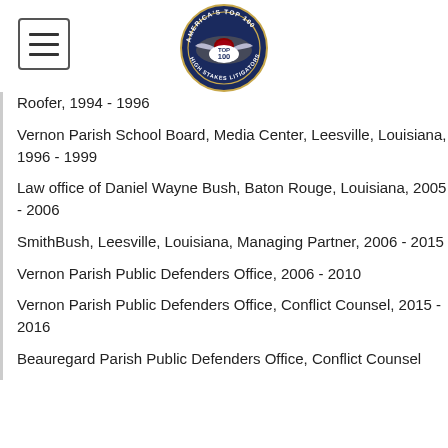[Figure (logo): America's Top 100 High Stakes Litigators Top 100 circular badge/seal logo]
Roofer, 1994 - 1996
Vernon Parish School Board, Media Center, Leesville, Louisiana, 1996 - 1999
Law office of Daniel Wayne Bush, Baton Rouge, Louisiana, 2005 - 2006
SmithBush, Leesville, Louisiana, Managing Partner, 2006 - 2015
Vernon Parish Public Defenders Office, 2006 - 2010
Vernon Parish Public Defenders Office, Conflict Counsel, 2015 - 2016
Beauregard Parish Public Defenders Office, Conflict Counsel